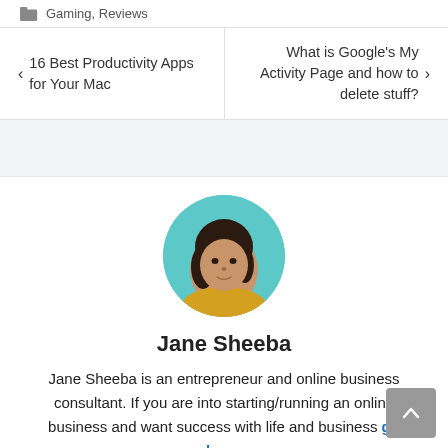Gaming, Reviews
< 16 Best Productivity Apps for Your Mac
What is Google's My Activity Page and how to delete stuff? >
[Figure (photo): Circular profile photo of Jane Sheeba, a woman with dark hair wearing a yellow/golden top, with a teal/aqua background]
Jane Sheeba
Jane Sheeba is an entrepreneur and online business consultant. If you are into starting/running an online business and want success with life and business go here.